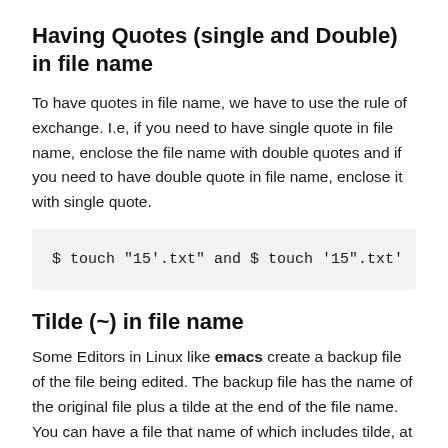Having Quotes (single and Double) in file name
To have quotes in file name, we have to use the rule of exchange. I.e, if you need to have single quote in file name, enclose the file name with double quotes and if you need to have double quote in file name, enclose it with single quote.
$ touch "15'.txt" and $ touch '15".txt'
Tilde (~) in file name
Some Editors in Linux like emacs create a backup file of the file being edited. The backup file has the name of the original file plus a tilde at the end of the file name. You can have a file that name of which includes tilde, at any location simply as: